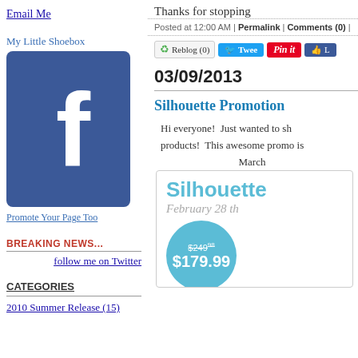Thanks for stopping
Email Me
My Little Shoebox
[Figure (logo): Facebook logo blue box with white F]
Promote Your Page Too
BREAKING NEWS...
follow me on Twitter
CATEGORIES
2010 Summer Release (15)
Posted at 12:00 AM | Permalink | Comments (0) |
Reblog (0)  Tweet  Pin it  Like
03/09/2013
Silhouette Promotion
Hi everyone!  Just wanted to share some products!  This awesome promo is March
[Figure (illustration): Silhouette promotion ad with teal text, cursive date February 28 th, and a teal circle badge showing $249.98 crossed out and $179.99]